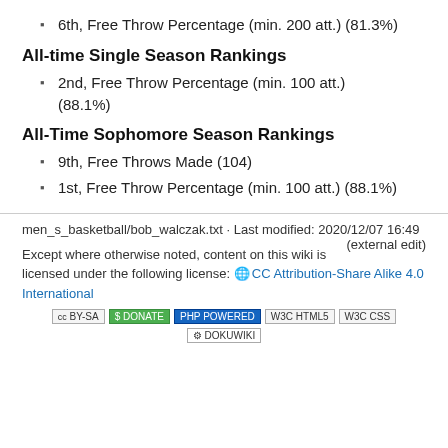6th, Free Throw Percentage (min. 200 att.) (81.3%)
All-time Single Season Rankings
2nd, Free Throw Percentage (min. 100 att.) (88.1%)
All-Time Sophomore Season Rankings
9th, Free Throws Made (104)
1st, Free Throw Percentage (min. 100 att.) (88.1%)
men_s_basketball/bob_walczak.txt · Last modified: 2020/12/07 16:49 (external edit)
Except where otherwise noted, content on this wiki is licensed under the following license: CC Attribution-Share Alike 4.0 International